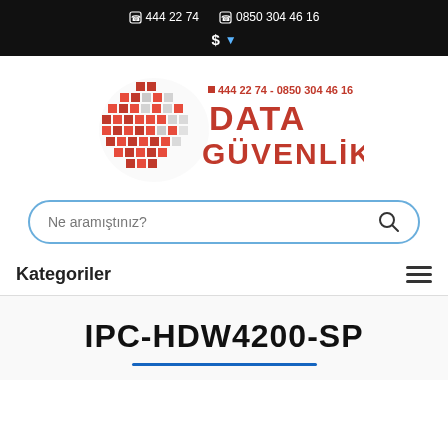444 22 74   0850 304 46 16   $
[Figure (logo): Data Güvenlik logo: a red globe made of small red squares, with text '444 22 74 - 0850 304 46 16' in red above large red bold text 'DATA GÜVENLİK']
Ne aramıştınız?
Kategoriler
IPC-HDW4200-SP